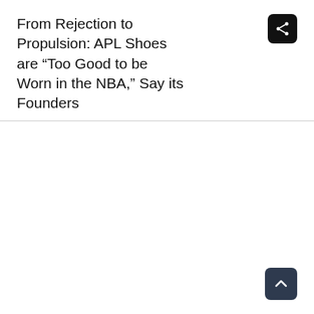From Rejection to Propulsion: APL Shoes are “Too Good to be Worn in the NBA,” Say its Founders